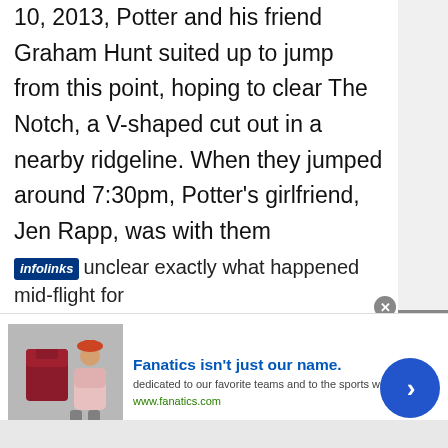10, 2013, Potter and his friend Graham Hunt suited up to jump from this point, hoping to clear The Notch, a V-shaped cut out in a nearby ridgeline. When they jumped around 7:30pm, Potter's girlfriend, Jen Rapp, was with them photographing. By 9pm, when she was unable to reach either by phone, she alerted Yosemite Valley Search and Rescue. The next day, Potter and Hunt's bodies were found 50 feet apart on the Valley floor, neither parachute had been deployed.
unclear exactly what happened mid-flight for
[Figure (screenshot): Fanatics advertisement banner with clothing image and person, showing 'Fanatics isn't just our name.' tagline with www.fanatics.com URL]